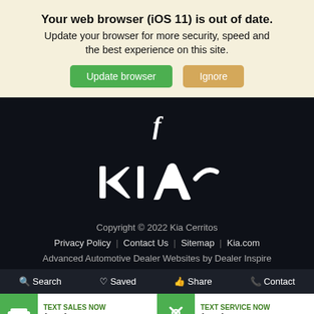Your web browser (iOS 11) is out of date. Update your browser for more security, speed and the best experience on this site.
[Figure (screenshot): Update browser and Ignore buttons]
[Figure (logo): Facebook f icon in white on dark background]
[Figure (logo): KIA logo in white on dark background]
Copyright © 2022 Kia Cerritos
Privacy Policy | Contact Us | Sitemap | Kia.com
Advanced Automotive Dealer Websites by Dealer Inspire
Search  Saved  Share  Contact
TEXT SALES NOW (562) 850-1313
TEXT SERVICE NOW (562) 608-1444